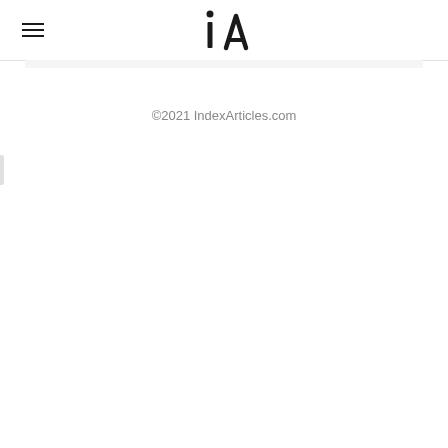iA — IndexArticles.com logo and navigation
©2021 IndexArticles.com